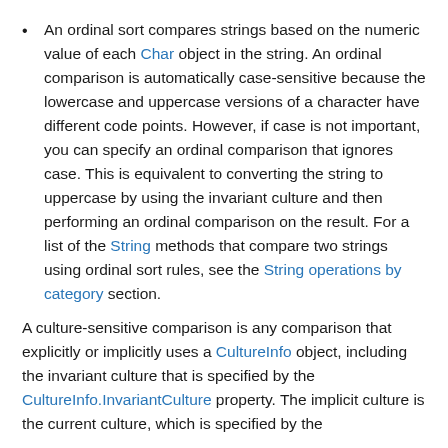An ordinal sort compares strings based on the numeric value of each Char object in the string. An ordinal comparison is automatically case-sensitive because the lowercase and uppercase versions of a character have different code points. However, if case is not important, you can specify an ordinal comparison that ignores case. This is equivalent to converting the string to uppercase by using the invariant culture and then performing an ordinal comparison on the result. For a list of the String methods that compare two strings using ordinal sort rules, see the String operations by category section.
A culture-sensitive comparison is any comparison that explicitly or implicitly uses a CultureInfo object, including the invariant culture that is specified by the CultureInfo.InvariantCulture property. The implicit culture is the current culture, which is specified by the